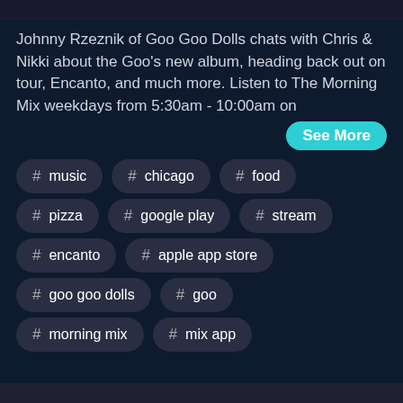Johnny Rzeznik of Goo Goo Dolls chats with Chris & Nikki about the Goo's new album, heading back out on tour, Encanto, and much more. Listen to The Morning Mix weekdays from 5:30am - 10:00am on
See More
# music
# chicago
# food
# pizza
# google play
# stream
# encanto
# apple app store
# goo goo dolls
# goo
# morning mix
# mix app